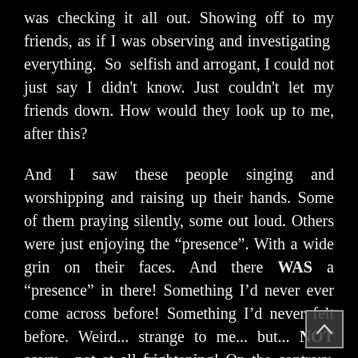was checking it all out. Showing off to my friends, as if I was observing and investigating everything. So selfish and arrogant, I could not just say I didn't know. Just couldn't let my friends down. How would they look up to me, after this?

And I saw these people singing and worshipping and raising up their hands. Some of them praying silently, some out loud. Others were just enjoying the "presence". With a wide grin on their faces. And there WAS a "presence" in there! Something I'd never ever come across before! Something I'd never felt before. Weird... strange to me... but... NOT scary... not at all frightening! On the contrary. Although it was a new,